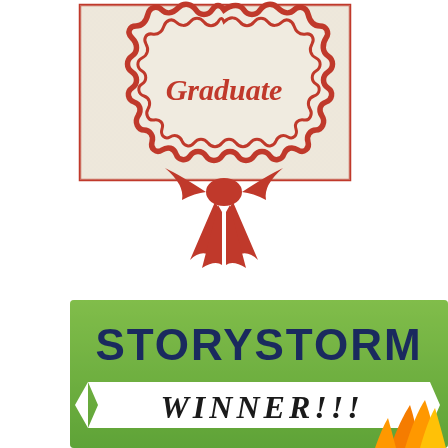[Figure (illustration): Graduate award ribbon/badge illustration. A rectangular certificate-like frame with a wavy scalloped red border on a beige/cream textured background. Inside the frame, the word 'Graduate' is written in red cursive script. Below the frame hangs a red decorative ribbon bow with two pointed tails, resembling an award rosette.]
[Figure (illustration): Storystorm Winner banner. A green textured background banner. Large bold dark navy text reads 'STORYSTORM' across the top. Below it is a white chevron/arrow ribbon banner containing bold italic black text 'WINNER!!!' with decorative orange and yellow flame/leaf shapes at the bottom right corner.]